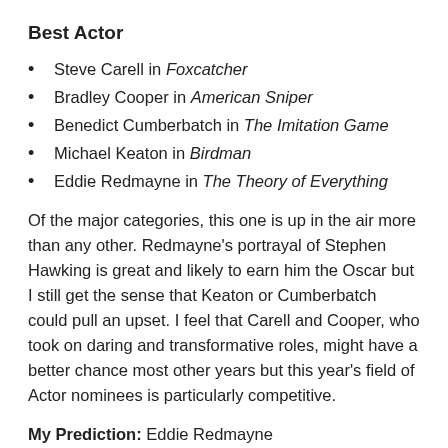Best Actor
Steve Carell in Foxcatcher
Bradley Cooper in American Sniper
Benedict Cumberbatch in The Imitation Game
Michael Keaton in Birdman
Eddie Redmayne in The Theory of Everything
Of the major categories, this one is up in the air more than any other. Redmayne's portrayal of Stephen Hawking is great and likely to earn him the Oscar but I still get the sense that Keaton or Cumberbatch could pull an upset. I feel that Carell and Cooper, who took on daring and transformative roles, might have a better chance most other years but this year's field of Actor nominees is particularly competitive.
My Prediction: Eddie Redmayne
My Vote: Michael Keaton
Overlooked: Miles Teller (Whiplash)